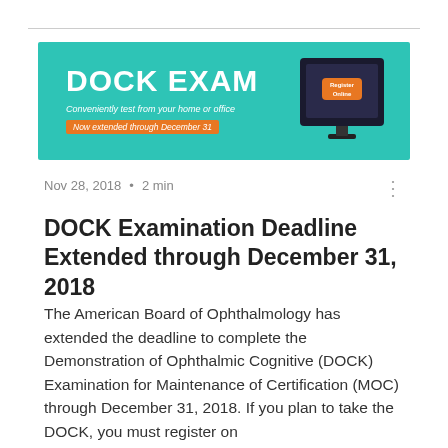[Figure (illustration): Banner advertisement for DOCK EXAM on teal background. Shows 'DOCK EXAM' in large white bold text, 'Conveniently test from your home or office' in italic white, 'Now extended through December 31' in orange pill button, and a computer monitor illustration on the right with orange 'Register Online' button on screen.]
Nov 28, 2018  •  2 min
DOCK Examination Deadline Extended through December 31, 2018
The American Board of Ophthalmology has extended the deadline to complete the Demonstration of Ophthalmic Cognitive (DOCK) Examination for Maintenance of Certification (MOC) through December 31, 2018. If you plan to take the DOCK, you must register on